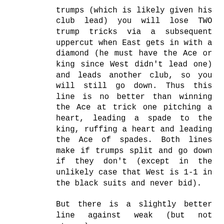trumps (which is likely given his club lead) you will lose TWO trump tricks via a subsequent uppercut when East gets in with a diamond (he must have the Ace or king since West didn't lead one) and leads another club, so you will still go down. Thus this line is no better than winning the Ace at trick one pitching a heart, leading a spade to the king, ruffing a heart and leading the Ace of spades. Both lines make if trumps split and go down if they don't (except in the unlikely case that West is 1-1 in the black suits and never bid).
But there is a slightly better line against weak (but not strong)